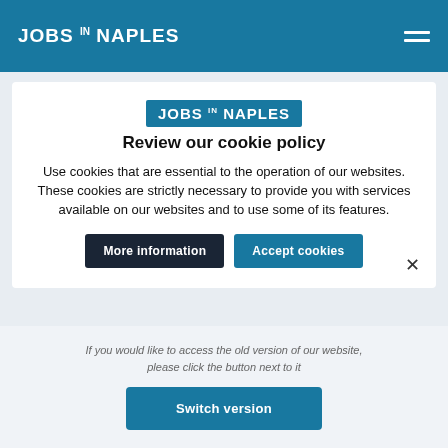JOBS IN NAPLES
[Figure (logo): JOBS IN NAPLES logo badge in blue background]
Review our cookie policy
Use cookies that are essential to the operation of our websites. These cookies are strictly necessary to provide you with services available on our websites and to use some of its features.
More information | Accept cookies
If you would like to access the old version of our website, please click the button next to it
Switch version